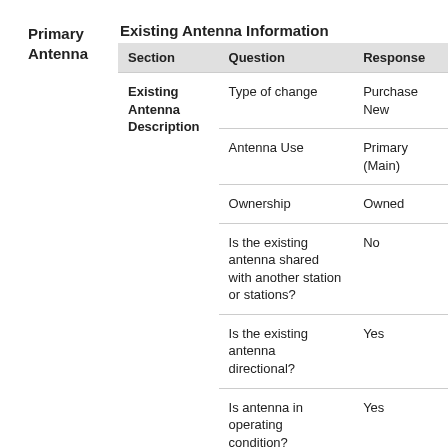Primary Antenna  Existing Antenna Information
| Section | Question | Response |
| --- | --- | --- |
| Existing Antenna Description | Type of change | Purchase New |
|  | Antenna Use | Primary (Main) |
|  | Ownership | Owned |
|  | Is the existing antenna shared with another station or stations? | No |
|  | Is the existing antenna directional? | Yes |
|  | Is antenna in operating condition? | Yes |
|  | Is antenna located on or | No |